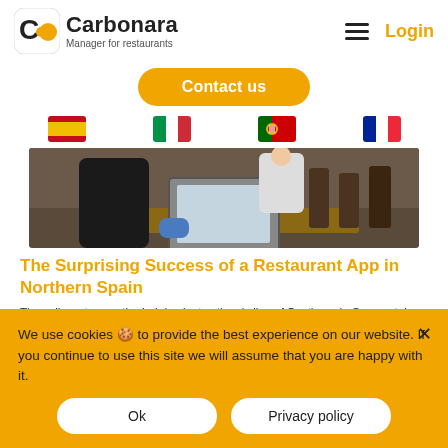Carbonara — Manager for restaurants | Login
Contact us
[Figure (illustration): Four country flag icons in a row: Spain, Italy, Portugal, France]
[Figure (photo): Restaurant scene with a person using a tablet on a wooden table with chairs in background]
The Surprising Success of a Restaurant App in Northern Spain
The yellow-stone cathedral dominates the skyline of Santiago de Compostela on the UNESCO world heritage list, about a mile from Le Coq Santiago Gastro café, [...]
We use cookies 🍪 to provide the best experience on our website. If you continue to use this site we will assume that you are happy with it.
Ok
Privacy policy